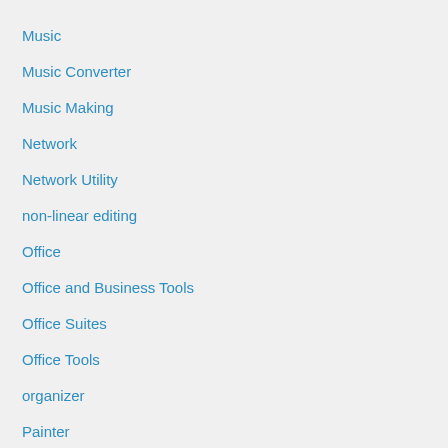Music
Music Converter
Music Making
Network
Network Utility
non-linear editing
Office
Office and Business Tools
Office Suites
Office Tools
organizer
Painter
painting tool
Partition Key